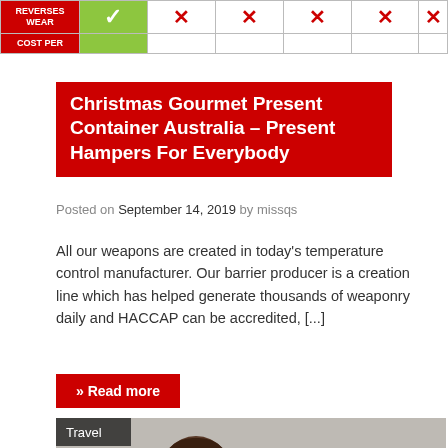[Figure (table-as-image): Top fragment of a comparison table showing rows for REVERSES WEAR and COST PER, with a green checkmark in one column and red X marks in other columns]
Christmas Gourmet Present Container Australia – Present Hampers For Everybody
Posted on September 14, 2019 by missqs
All our weapons are created in today's temperature control manufacturer. Our barrier producer is a creation line which has helped generate thousands of weaponry daily and HACCAP can be accredited, [...]
» Read more
[Figure (photo): Photo showing a woman with brown hair resting her head on her hand looking downward, and a man in the background also with his hand near his head, appearing stressed or worried. A 'Travel' category label is overlaid in the top-left corner.]